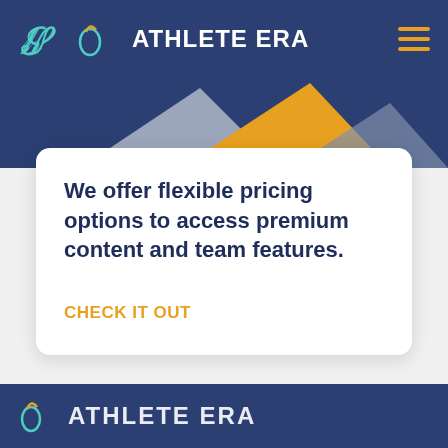ATHLETE ERA
[Figure (illustration): Partial image showing geometric mountain/chevron shapes in gold, silver, and dark blue]
We offer flexible pricing options to access premium content and team features.
CHECK IT OUT
ATHLETE ERA